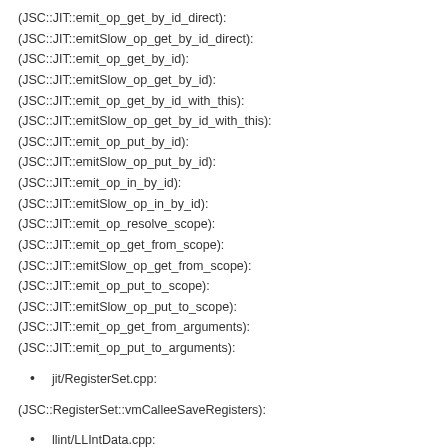(JSC::JIT::emit_op_get_by_id_direct):
(JSC::JIT::emitSlow_op_get_by_id_direct):
(JSC::JIT::emit_op_get_by_id):
(JSC::JIT::emitSlow_op_get_by_id):
(JSC::JIT::emit_op_get_by_id_with_this):
(JSC::JIT::emitSlow_op_get_by_id_with_this):
(JSC::JIT::emit_op_put_by_id):
(JSC::JIT::emitSlow_op_put_by_id):
(JSC::JIT::emit_op_in_by_id):
(JSC::JIT::emitSlow_op_in_by_id):
(JSC::JIT::emit_op_resolve_scope):
(JSC::JIT::emit_op_get_from_scope):
(JSC::JIT::emitSlow_op_get_from_scope):
(JSC::JIT::emit_op_put_to_scope):
(JSC::JIT::emitSlow_op_put_to_scope):
(JSC::JIT::emit_op_get_from_arguments):
(JSC::JIT::emit_op_put_to_arguments):
jit/RegisterSet.cpp:
(JSC::RegisterSet::vmCalleeSaveRegisters):
llint/LLIntData.cpp:
(JSC::LLInt::Data::performAssertions):
llint/LowLevelInterpreter.asm:
runtime/SamplingProfiler.cpp: